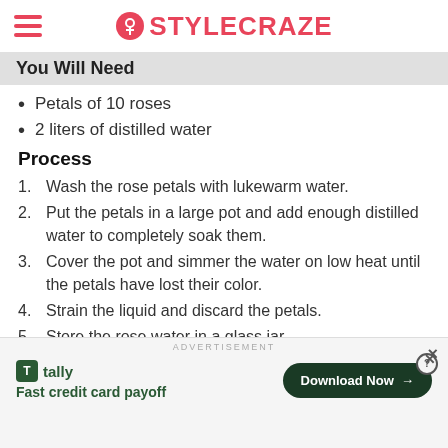STYLECRAZE
You Will Need
Petals of 10 roses
2 liters of distilled water
Process
1. Wash the rose petals with lukewarm water.
2. Put the petals in a large pot and add enough distilled water to completely soak them.
3. Cover the pot and simmer the water on low heat until the petals have lost their color.
4. Strain the liquid and discard the petals.
5. Store the rose water in a glass jar.
ADVERTISEMENT
Fast credit card payoff — Download Now